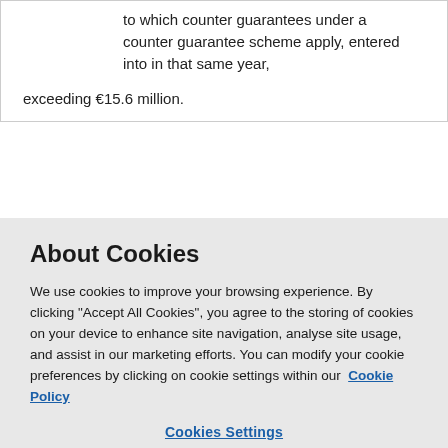to which counter guarantees under a counter guarantee scheme apply, entered into in that same year,
exceeding €15.6 million.
72f(2) Selection (threshold amount)...
About Cookies
We use cookies to improve your browsing experience. By clicking "Accept All Cookies", you agree to the storing of cookies on your device to enhance site navigation, analyse site usage, and assist in our marketing efforts. You can modify your cookie preferences by clicking on cookie settings within our Cookie Policy
Cookies Settings
Reject All
Accept All Cookies